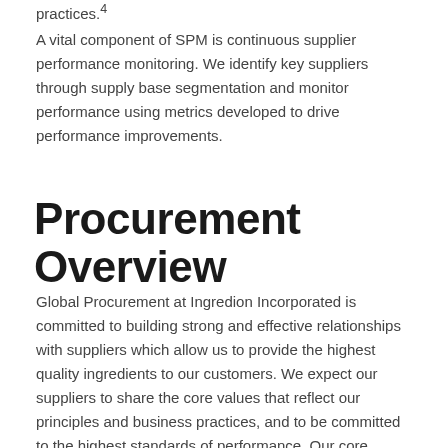practices.4
A vital component of SPM is continuous supplier performance monitoring. We identify key suppliers through supply base segmentation and monitor performance using metrics developed to drive performance improvements.
Procurement Overview
Global Procurement at Ingredion Incorporated is committed to building strong and effective relationships with suppliers which allow us to provide the highest quality ingredients to our customers. We expect our suppliers to share the core values that reflect our principles and business practices, and to be committed to the highest standards of performance. Our core values are: Care First,